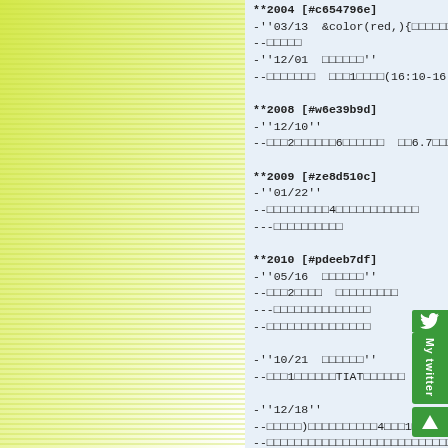[Figure (illustration): Left panel with diagonal green and yellow stripes on white/light background]
**2004 [#c654796e]
-''03/13  &color(red,){□□□□□□□□}
--□□□□□
-''12/01  □□□□□□''
--□□□□□□□  □□□1□□□□□(16:10-16:3

**2008 [#w6e39b9d]
-''12/10''
--□□□2□□□□□□6□□□□□□□  □□6.7□□□□

**2009 [#ze8d510c]
-''01/22''
--□□□□□□□□□4□□□□□□□□□□□□
---□□□□□□□□□□

**2010 [#pdeeb7df]
-''05/16  □□□□□□''
--□□□2□□□□  □□□□□□□□□
---□□□□□□□□□□□□□□
--□□□□□□□□□□□□□□□

-''10/21  □□□□□□''
--□□□1□□□□□□TIAT□□□□□□

-''12/18''
--□□□□□)□□□□□□□□□□□4□□□1□□□
--□□□□□□□□□□□□□□□□□□□□□□□□□□□
---□□□□□□□□□□

**2011 [#k80f1ef2]